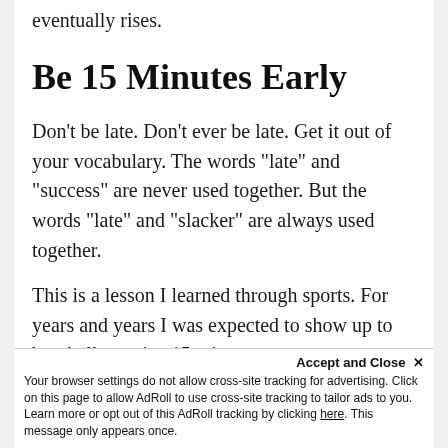eventually rises.
Be 15 Minutes Early
Don't be late. Don't ever be late. Get it out of your vocabulary. The words “late” and “success” are never used together. But the words “late” and “slacker” are always used together.
This is a lesson I learned through sports. For years and years I was expected to show up to baseball practice 15 minutes
Accept and Close ×
Your browser settings do not allow cross-site tracking for advertising. Click on this page to allow AdRoll to use cross-site tracking to tailor ads to you. Learn more or opt out of this AdRoll tracking by clicking here. This message only appears once.